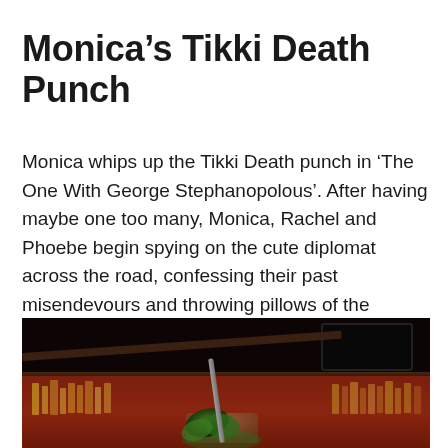Monica’s Tikki Death Punch
Monica whips up the Tikki Death punch in ‘The One With George Stephanopolous’. After having maybe one too many, Monica, Rachel and Phoebe begin spying on the cute diplomat across the road, confessing their past misendevours and throwing pillows of the terrace. If you've plans for a girl’s only sleepover, this is what you should make.
[Figure (photo): A photo of a cocktail with a straw and green garnish (likely mint) in a dim bar setting with bottles on shelves in the background and a dark screen/monitor visible.]